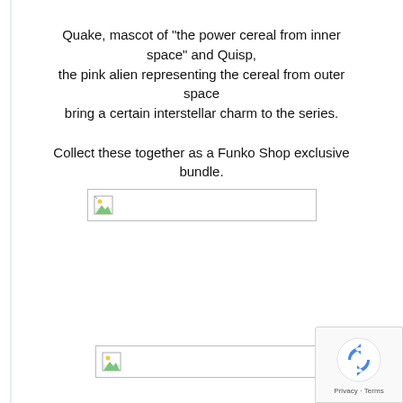Quake, mascot of “the power cereal from inner space” and Quisp, the pink alien representing the cereal from outer space bring a certain interstellar charm to the series.

Collect these together as a Funko Shop exclusive bundle.
[Figure (other): Broken image placeholder — a small image icon with a border box indicating a missing/failed-to-load product image]
[Figure (other): Broken image placeholder — a small image icon with a border box indicating a missing/failed-to-load product image]
[Figure (other): reCAPTCHA badge with rotating arrows logo, Privacy and Terms links]